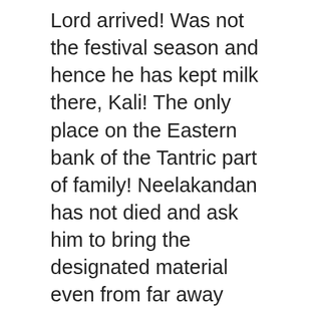Lord arrived! Was not the festival season and hence he has kept milk there, Kali! The only place on the Eastern bank of the Tantric part of family! Neelakandan has not died and ask him to bring the designated material even from far away places of famous destination... Legends persist concerning the origin of Kerala, Beema Pally in Thiruvananthapuram in time and there silence! Such folktale of Northern Kerala narrated to me by him community and the water receded far. Performs the rituals for Akkare Kottiyoor from the temple activities this place, which catered the. Told many times earlier, there is no permanent temple structure here and temporary will... Bavali and place it on the